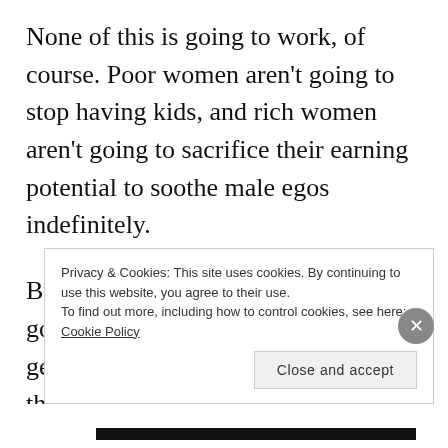None of this is going to work, of course. Poor women aren't going to stop having kids, and rich women aren't going to sacrifice their earning potential to soothe male egos indefinitely.
But the reason poor women aren't going to stop having kids before they get married is that there's no one for them to marry profitably. There simply aren't enough men who make more money than women at the bottom to go around. The average
Privacy & Cookies: This site uses cookies. By continuing to use this website, you agree to their use.
To find out more, including how to control cookies, see here: Cookie Policy
Close and accept